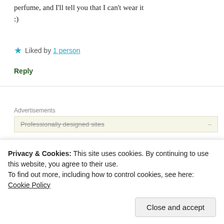Yep. You name a famous lily-centric perfume, and I'll tell you that I can't wear it :)
★ Liked by 1 person
Reply
Advertisements
Professionally designed sites
[Figure (illustration): Purple and white pixel/checkered avatar icon in a circular frame]
Sylvie | May 21, 2021 at 9:02 am
Privacy & Cookies: This site uses cookies. By continuing to use this website, you agree to their use.
To find out more, including how to control cookies, see here: Cookie Policy
Close and accept